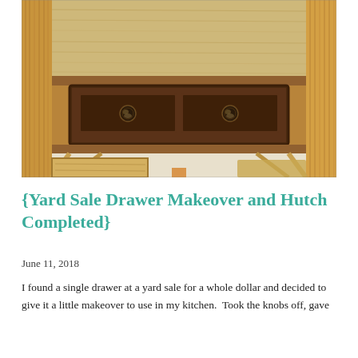[Figure (photo): Close-up overhead photograph of wooden drawers/hutch project. Shows a dark-stained drawer front with two round knobs in the center, sitting inside a light natural wood frame. Below the main drawer are two lighter wooden drawer inserts. The surrounding hutch has a wicker/rattan texture on the sides.]
{Yard Sale Drawer Makeover and Hutch Completed}
June 11, 2018
I found a single drawer at a yard sale for a whole dollar and decided to give it a little makeover to use in my kitchen.  Took the knobs off, gave